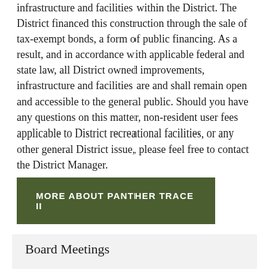infrastructure and facilities within the District. The District financed this construction through the sale of tax-exempt bonds, a form of public financing. As a result, and in accordance with applicable federal and state law, all District owned improvements, infrastructure and facilities are and shall remain open and accessible to the general public. Should you have any questions on this matter, non-resident user fees applicable to District recreational facilities, or any other general District issue, please feel free to contact the District Manager.
MORE ABOUT PANTHER TRACE II
Board Meetings